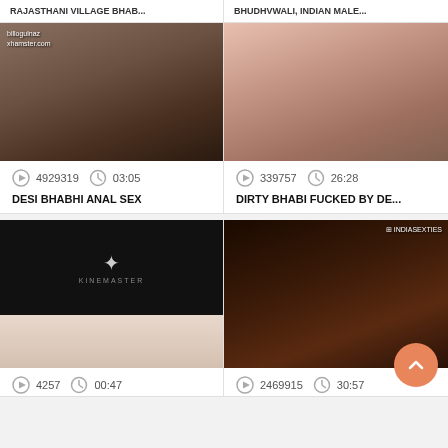RAJASTHANI VILLAGE BHAB...
BHUDHVWALI, INDIAN MALE...
[Figure (photo): Adult video thumbnail with watermark billogulnaz xhamster.com]
[Figure (photo): Adult video thumbnail showing bedroom scene]
4929319   03:05
339757   26:28
DESI BHABHI ANAL SEX
DIRTY BHABI FUCKED BY DE...
[Figure (photo): Video thumbnail split: black KineMaster screen top, skin-tone bottom]
[Figure (photo): Adult video thumbnail dark scene]
4257   00:47
2469915   30:57